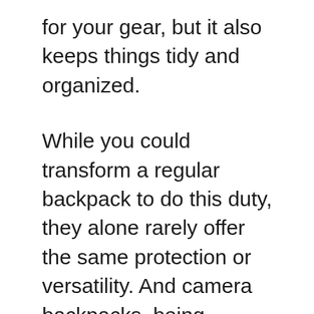for your gear, but it also keeps things tidy and organized.
While you could transform a regular backpack to do this duty, they alone rarely offer the same protection or versatility. And camera backpacks, being inherently designed for the job, offer a far more complete system. Now, backpacks are an accessory that very much depends on personal preference and the gear you use. So, the best option, specifically, will depend on your